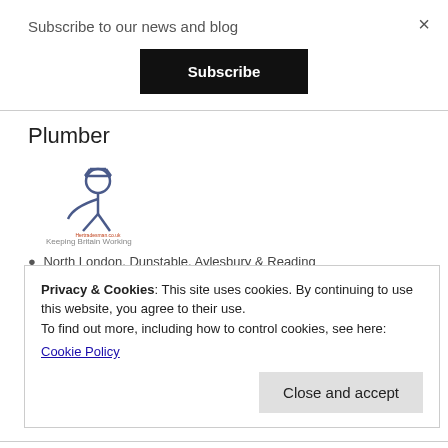Subscribe to our news and blog
×
Subscribe
Plumber
[Figure (logo): Hertradesman.co.uk logo — stylized stick figure person with text 'Hertradesman.co.uk Keeping Britain Working']
North London, Dunstable, Aylesbury & Reading
H2O Plumbing & Heating Services Ltd   Freelance
Full Time
Privacy & Cookies: This site uses cookies. By continuing to use this website, you agree to their use.
To find out more, including how to control cookies, see here:
Cookie Policy
Close and accept